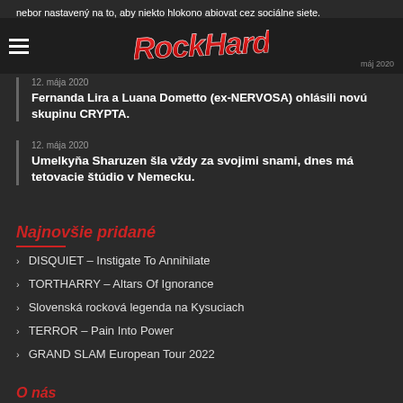RockHard
nebor nastavený na to, aby niekto hlokono abiovat cez sociálne siete.
Fernanda Lira a Luana Dometto (ex-NERVOSA) ohlásili novú skupinu CRYPTA. 12. mája 2020
12. mája 2020
Umelkyňa Sharuzen šla vždy za svojimi snami, dnes má tetovacie štúdio v Nemecku.
Najnovšie pridané
DISQUIET – Instigate To Annihilate
TORTHARRY – Altars Of Ignorance
Slovenská rocková legenda na Kysuciach
TERROR – Pain Into Power
GRAND SLAM European Tour 2022
O nás